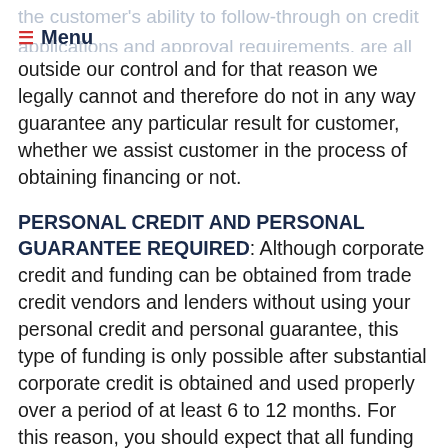≡ Menu
the customer's ability to follow-through on credit applications and approval requirements, are all factors outside our control and for that reason we legally cannot and therefore do not in any way guarantee any particular result for customer, whether we assist customer in the process of obtaining financing or not.
PERSONAL CREDIT AND PERSONAL GUARANTEE REQUIRED: Although corporate credit and funding can be obtained from trade credit vendors and lenders without using your personal credit and personal guarantee, this type of funding is only possible after substantial corporate credit is obtained and used properly over a period of at least 6 to 12 months. For this reason, you should expect that all funding you will obtain in the first 6 to 12 months from the date you purchase the aged corporate entity will always require using your personal